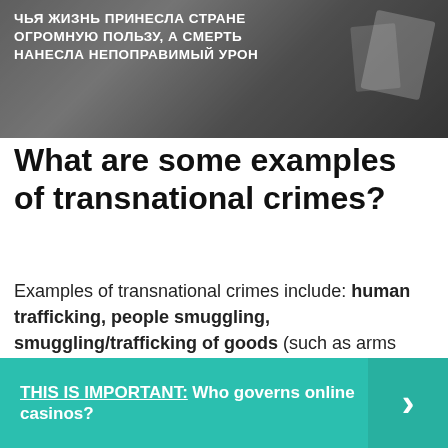[Figure (photo): Dark banner image with Russian text overlay, appears to show documents or papers in background. Text reads: ЧЬЯ ЖИЗНЬ ПРИНЕСЛА СТРАНЕ ОГРОМНУЮ ПОЛЬЗУ, А СМЕРТЬ НАНЕСЛА НЕПОПРАВИМЫЙ УРОН]
What are some examples of transnational crimes?
Examples of transnational crimes include: human trafficking, people smuggling, smuggling/trafficking of goods (such as arms trafficking and drug trafficking and illegal animal and plant products and other goods prohibited on environmental grounds (e.g. banned ozone depleting substances), sex slavery, terrorism offences ...
THIS IS IMPORTANT:  Who governs online casinos?